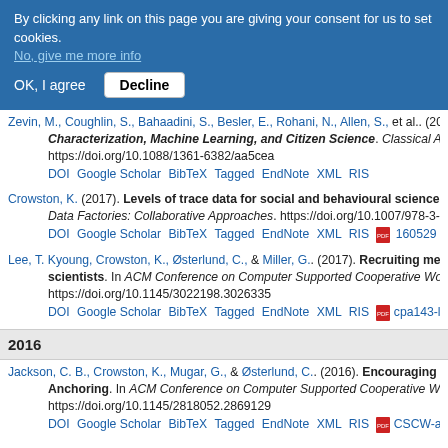By clicking any link on this page you are giving your consent for us to set cookies. No, give me more info
OK, I agree  Decline
Zevin, M., Coughlin, S., Bahaadini, S., Besler, E., Rohani, N., Allen, S., et al.. (2017). Characterization, Machine Learning, and Citizen Science. Classical And Qu... https://doi.org/10.1088/1361-6382/aa5cea DOI Google Scholar BibTeX Tagged EndNote XML RIS
Crowston, K. (2017). Levels of trace data for social and behavioural science re... Data Factories: Collaborative Approaches. https://doi.org/10.1007/978-3-319... DOI Google Scholar BibTeX Tagged EndNote XML RIS 160529 levels...
Lee, T. Kyoung, Crowston, K., Østerlund, C., & Miller, G.. (2017). Recruiting mes... scientists. In ACM Conference on Computer Supported Cooperative Work a... https://doi.org/10.1145/3022198.3026335 DOI Google Scholar BibTeX Tagged EndNote XML RIS cpa143-leeA.p...
2016
Jackson, C. B., Crowston, K., Mugar, G., & Østerlund, C.. (2016). Encouraging Wo... Anchoring. In ACM Conference on Computer Supported Cooperative Work a... https://doi.org/10.1145/2818052.2869129 DOI Google Scholar BibTeX Tagged EndNote XML RIS CSCW-abstr...